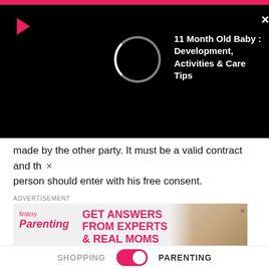[Figure (screenshot): Video player overlay on black background showing a loading spinner and title '11 Month Old Baby : Development, Activities & Care Tips']
made by the other party. It must be a valid contract and the person should enter with his free consent.
ADVERTISEMENT
[Figure (screenshot): firstcry Parenting ad banner: GET ANSWERS FROM EXPERTS & REAL MOMS. INSTALL NOW. UPGRADE TO APP.]
4. Law of Large Numbers
This theory makes sure you have minimum losses and long-
SHOPPING   PARENTING